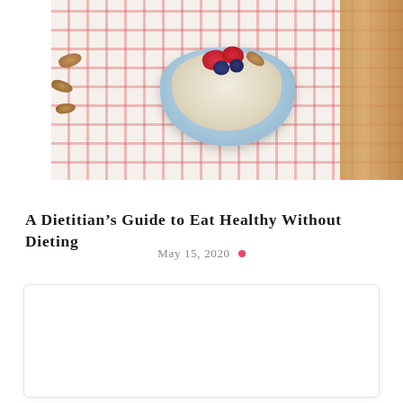[Figure (photo): Overhead photo of a bowl of oatmeal topped with strawberries, blueberries, and almonds, placed on a red checkered cloth with scattered almonds and a wooden surface visible]
A Dietitian's Guide to Eat Healthy Without Dieting
May 15, 2020 •
[Figure (other): Empty white content box with rounded corners and subtle shadow — placeholder for article content]